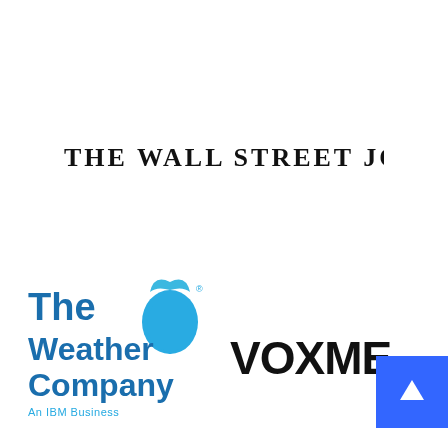[Figure (logo): The Wall Street Journal logo in bold serif black uppercase lettering]
[Figure (logo): The Weather Company - An IBM Business logo with blue teardrop/water drop icon and blue text]
[Figure (logo): Vox Media logo in bold black uppercase sans-serif text]
[Figure (logo): Blue square with white upward arrow icon (scroll to top button)]